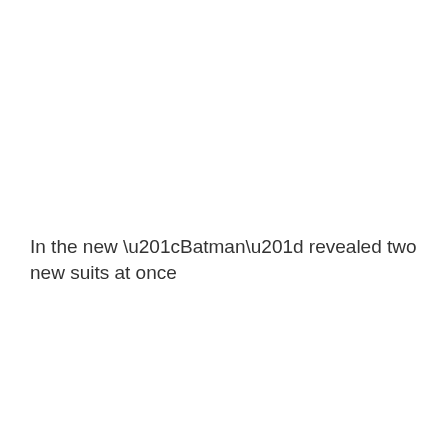In the new “Batman” revealed two new suits at once